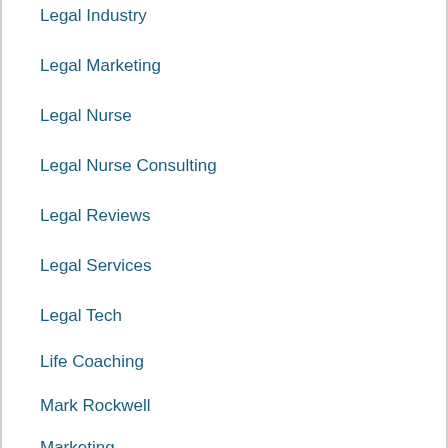Legal Industry
Legal Marketing
Legal Nurse
Legal Nurse Consulting
Legal Reviews
Legal Services
Legal Tech
Life Coaching
Mark Rockwell
Marketing